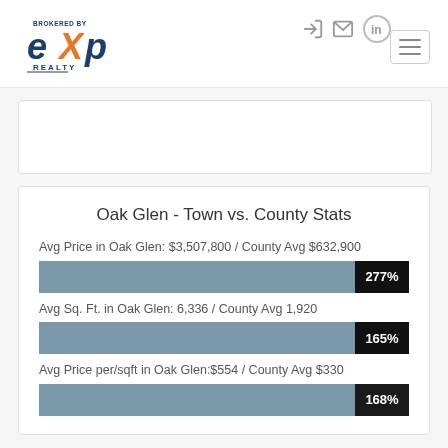[Figure (logo): eXp Realty logo - BROKERED BY eXp REALTY in blue and orange]
Oak Glen - Town vs. County Stats
Avg Price in Oak Glen: $3,507,800 / County Avg $632,900
[Figure (bar-chart): Avg Price comparison]
Avg Sq. Ft. in Oak Glen: 6,336 / County Avg 1,920
[Figure (bar-chart): Avg Sq Ft comparison]
Avg Price per/sqft in Oak Glen:$554 / County Avg $330
[Figure (bar-chart): Avg Price per sqft comparison]